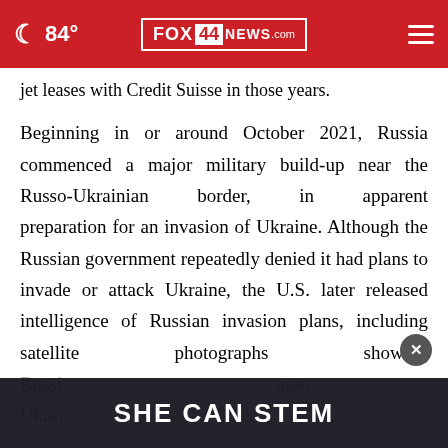84° FOX 44 NEWS.com
jet leases with Credit Suisse in those years.
Beginning in or around October 2021, Russia commenced a major military build-up near the Russo-Ukrainian border, in apparent preparation for an invasion of Ukraine. Although the Russian government repeatedly denied it had plans to invade or attack Ukraine, the U.S. later released intelligence of Russian invasion plans, including satellite photographs showing Russi… …usso-Ukrai…
[Figure (other): Advertisement banner overlay with text 'SHE CAN STEM' and a close button (X)]